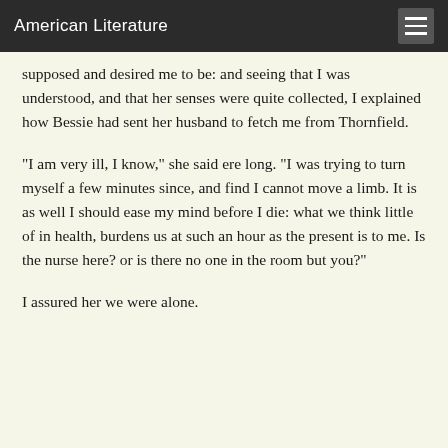American Literature
supposed and desired me to be: and seeing that I was understood, and that her senses were quite collected, I explained how Bessie had sent her husband to fetch me from Thornfield.
"I am very ill, I know," she said ere long. "I was trying to turn myself a few minutes since, and find I cannot move a limb. It is as well I should ease my mind before I die: what we think little of in health, burdens us at such an hour as the present is to me. Is the nurse here? or is there no one in the room but you?"
I assured her we were alone.